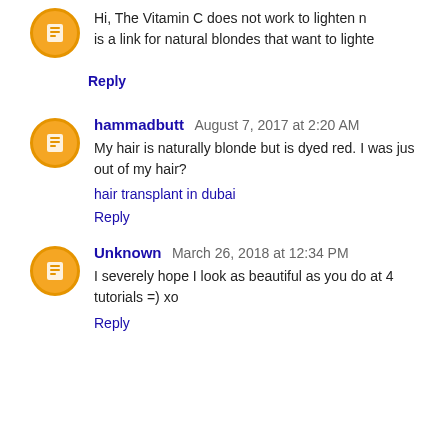Hi, The Vitamin C does not work to lighten n... is a link for natural blondes that want to lighte...
Reply
hammadbutt August 7, 2017 at 2:20 AM
My hair is naturally blonde but is dyed red. I was jus... out of my hair?
hair transplant in dubai
Reply
Unknown March 26, 2018 at 12:34 PM
I severely hope I look as beautiful as you do at 4... tutorials =) xo
Reply